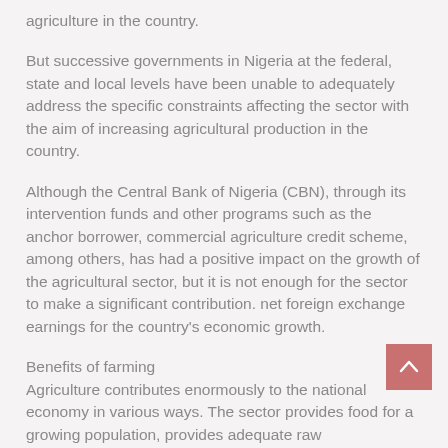agriculture in the country.
But successive governments in Nigeria at the federal, state and local levels have been unable to adequately address the specific constraints affecting the sector with the aim of increasing agricultural production in the country.
Although the Central Bank of Nigeria (CBN), through its intervention funds and other programs such as the anchor borrower, commercial agriculture credit scheme, among others, has had a positive impact on the growth of the agricultural sector, but it is not enough for the sector to make a significant contribution. net foreign exchange earnings for the country's economic growth.
Benefits of farming
Agriculture contributes enormously to the national economy in various ways. The sector provides food for a growing population, provides adequate raw